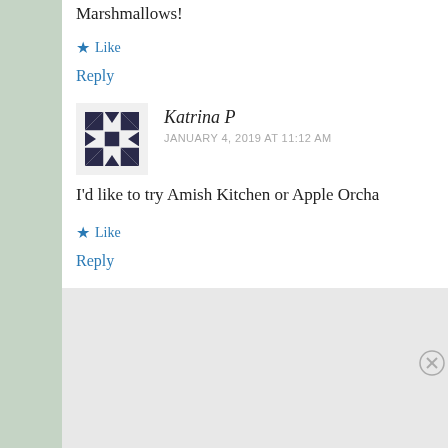Marshmallows!
★ Like
Reply
Katrina P
JANUARY 4, 2019 AT 11:12 AM
I'd like to try Amish Kitchen or Apple Orcha
★ Like
Reply
[Figure (infographic): DuckDuckGo advertisement banner with orange background showing 'Search, browse, and email with more privacy. All in One Free App' with a phone mockup and DuckDuckGo logo]